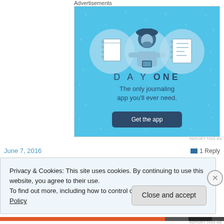Advertisements
[Figure (illustration): Day One journaling app advertisement with blue background, icons of a notebook, a person holding a phone, and a checklist. Text reads 'DAY ONE - The only journaling app you'll ever need.' with a 'Get the app' button.]
REPORT THIS AD
June 7, 2016
1 Reply
Privacy & Cookies: This site uses cookies. By continuing to use this website, you agree to their use.
To find out more, including how to control cookies, see here: Cookie Policy
Close and accept